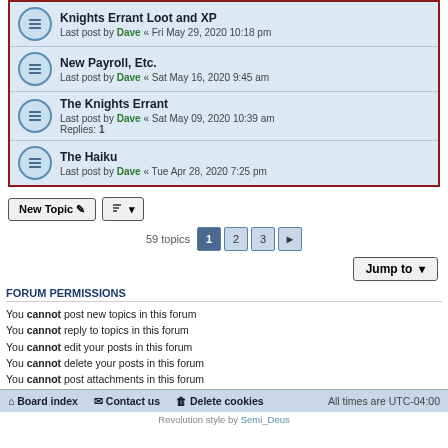Knights Errant Loot and XP — Last post by Dave « Fri May 29, 2020 10:18 pm
New Payroll, Etc. — Last post by Dave « Sat May 16, 2020 9:45 am
The Knights Errant — Last post by Dave « Sat May 09, 2020 10:39 am — Replies: 1
The Haiku — Last post by Dave « Tue Apr 28, 2020 7:25 pm
New Topic | Sort | 59 topics | 1 | 2 | 3 | > | Jump to
FORUM PERMISSIONS
You cannot post new topics in this forum
You cannot reply to topics in this forum
You cannot edit your posts in this forum
You cannot delete your posts in this forum
You cannot post attachments in this forum
Board index   Contact us   Delete cookies   All times are UTC-04:00
Revolution style by Semi_Deus